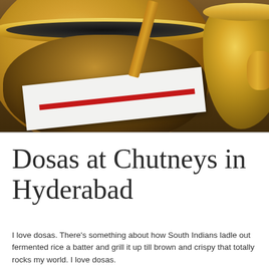[Figure (photo): Close-up photograph of brass/copper cooking vessels (bowls and a ladle/pot) on a dark wooden surface, with a white paper or plate with a red stripe visible in the foreground.]
Dosas at Chutneys in Hyderabad
I love dosas. There's something about how South Indians ladle out fermented rice and batter and grill it up till brown and crispy that totally rocks my world. I love dosas.